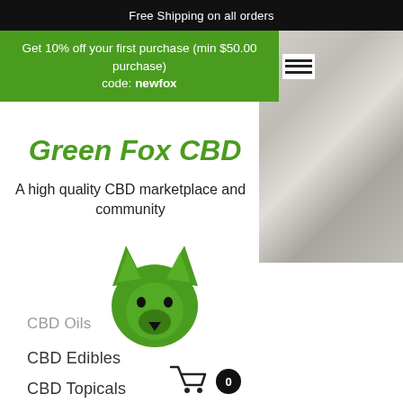Free Shipping on all orders
Get 10% off your first purchase (min $50.00 purchase)
code: newfox
Green Fox CBD
A high quality CBD marketplace and community
[Figure (logo): Green Fox CBD fox head logo in green]
[Figure (photo): Photo of white and grey bedding/pillows on right side]
CBD Oils
CBD Edibles
CBD Topicals